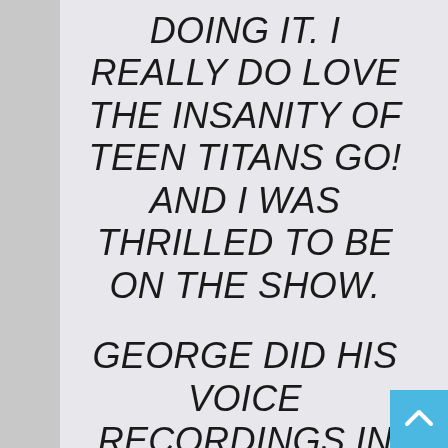DOING IT. I REALLY DO LOVE THE INSANITY OF TEEN TITANS GO! AND I WAS THRILLED TO BE ON THE SHOW.

GEORGE DID HIS VOICE RECORDINGS IN FLORIDA WHILE I DID MINE IN SOUTHERN CALIFORNIA. WE RECORDED OUR PARTS ON